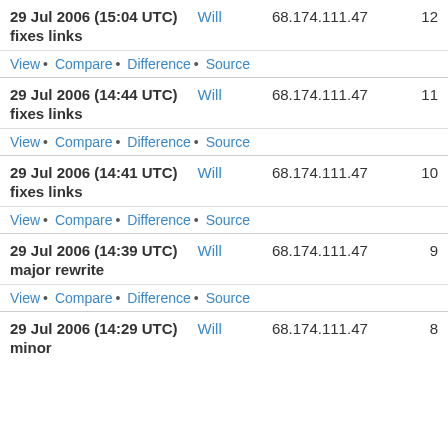29 Jul 2006 (15:04 UTC)  Will  68.174.111.47  12
fixes links
View • Compare • Difference • Source
29 Jul 2006 (14:44 UTC)  Will  68.174.111.47  11
fixes links
View • Compare • Difference • Source
29 Jul 2006 (14:41 UTC)  Will  68.174.111.47  10
fixes links
View • Compare • Difference • Source
29 Jul 2006 (14:39 UTC)  Will  68.174.111.47  9
major rewrite
View • Compare • Difference • Source
29 Jul 2006 (14:29 UTC)  Will  68.174.111.47  8
minor